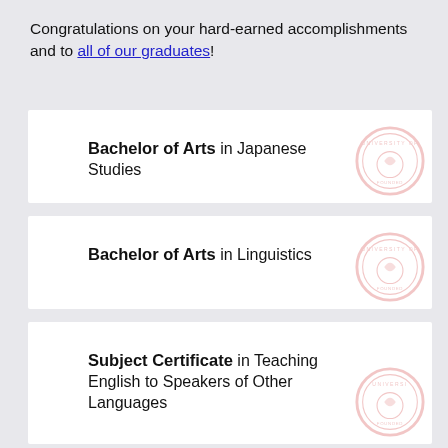Congratulations on your hard-earned accomplishments and to all of our graduates!
Bachelor of Arts in Japanese Studies
Bachelor of Arts in Linguistics
Subject Certificate in Teaching English to Speakers of Other Languages